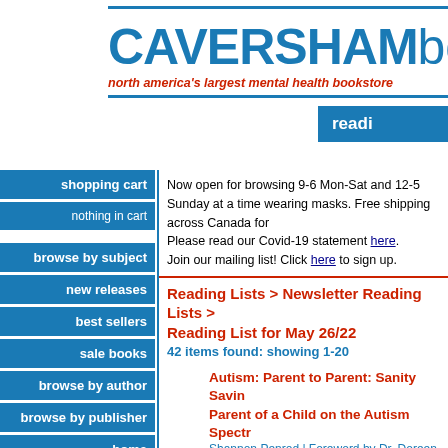CAVERSHAMbooks — north america's largest mental health bookstore
Now open for browsing 9-6 Mon-Sat and 12-5 Sunday at a time wearing masks. Free shipping across Canada for orders. Please read our Covid-19 statement here. Join our mailing list! Click here to sign up.
Reading Lists > Newsletter Reading Lists > Reading List for May 26/22
42 items found: showing 1-20
Autism: Parent to Parent: Sanity Saving Advice from a Parent of a Child on the Autism Spectrum
Shannon Penrod | Foreword by Dr. Doreen Granpeesheh
Future Horizons | Softcover | 2022 | 1949177858
Autism Spectrum (Self Help)
price: $26.95 (in stock!)
An Introduction to Coping with Childhood Trauma, Second Edition
Helen Kennerley
Constable Robinson | Softcover | 2022 | 1472146999
Trauma (Self-Help)